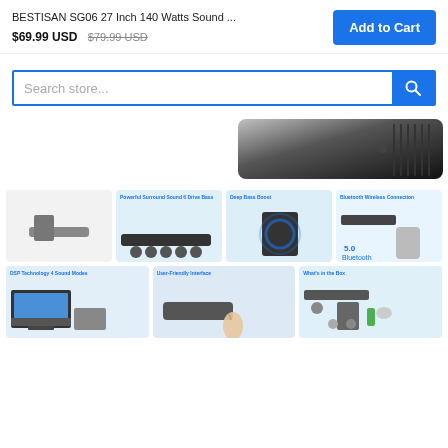BESTISAN SG06 27 Inch 140 Watts Sound ...
$69.99 USD $79.99 USD
Add to Cart
Search store...
[Figure (photo): Corner view of a black soundbar device on white background]
[Figure (photo): Soundbar and subwoofer product photo on light background]
[Figure (photo): Powerful Surround Sound 6 Drive Bass - soundbar components diagram]
[Figure (photo): Deep Bass Boost - subwoofer with blue light]
[Figure (photo): Bluetooth Wireless Connection 5.0 - soundbar with phone]
[Figure (photo): DSP Technology 4 Sound Modes - TV with soundbar lifestyle photo]
[Figure (photo): User-Friendly Interface - finger touching soundbar]
[Figure (photo): What's in the Box - soundbar accessories diagram]